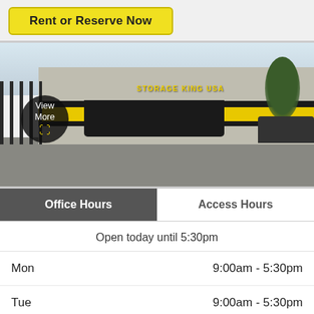Rent or Reserve Now
[Figure (photo): Exterior photo of Storage King USA facility showing building facade with yellow and black stripe awning, iron fence on left, parking lot in foreground, and trees in background. A 'View More' button overlay appears on the lower left of the image.]
Office Hours
Access Hours
Open today until 5:30pm
| Day | Hours |
| --- | --- |
| Mon | 9:00am - 5:30pm |
| Tue | 9:00am - 5:30pm |
| Wed | 9:00 - 5:00 |